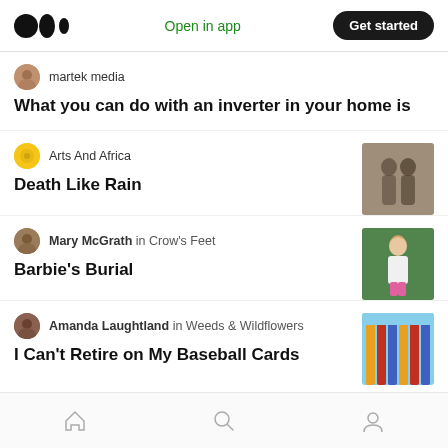Medium app header with logo, Open in app, Get started
martek media
What you can do with an inverter in your home is
Arts And Africa
Death Like Rain
[Figure (photo): Thumbnail image of two children covered in mud/sand, black and white photo]
Mary McGrath in Crow's Feet
Barbie's Burial
[Figure (photo): Thumbnail image of a woman in white top and pink skirt standing outdoors]
Amanda Laughtland in Weeds & Wildflowers
I Can't Retire on My Baseball Cards
[Figure (photo): Thumbnail image of colorful vertical striped objects, partially visible]
Home, Search, Profile navigation icons